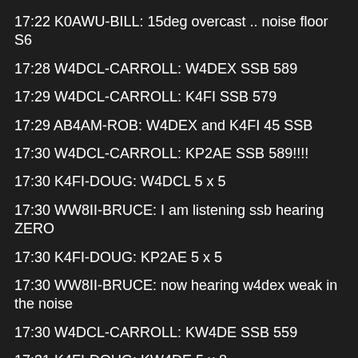17:22 K0AWU-BILL: 15deg overcast .. noise floor S6
17:28 W4DCL-CARROLL: W4DEX SSB 589
17:29 W4DCL-CARROLL: K4FI SSB 579
17:29 AB4AM-ROB: W4DEX and K4FI 45 SSB
17:30 W4DCL-CARROLL: KP2AE SSB 589!!!!
17:30 K4FI-DOUG: W4DCL 5 x 5
17:30 WW8II-BRUCE: I am listening ssb hearing ZERO
17:30 K4FI-DOUG: KP2AE 5 x 5
17:30 WW8II-BRUCE: now hearing w4dex weak in the noise
17:30 W4DCL-CARROLL: KW4DE SSB 559
17:31 K4FI-DOUG: KW4DE 5 x 8